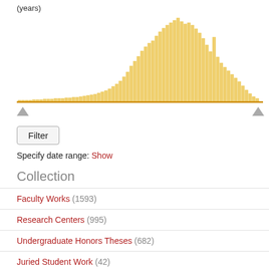[Figure (histogram): (years)]
Filter
Specify date range: Show
Collection
Faculty Works (1593)
Research Centers (995)
Undergraduate Honors Theses (682)
Juried Student Work (42)
Data Archive (5)
School